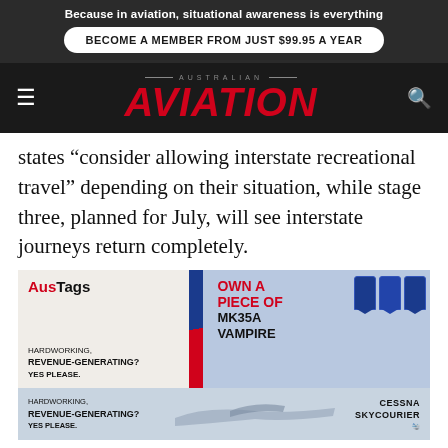Because in aviation, situational awareness is everything
BECOME A MEMBER FROM JUST $99.95 A YEAR
AUSTRALIAN AVIATION
states “consider allowing interstate recreational travel” depending on their situation, while stage three, planned for July, will see interstate journeys return completely.
[Figure (infographic): AusTags advertisement: OWN A PIECE OF MK35A VAMPIRE, with luggage tags shown on right side]
[Figure (infographic): Cessna SkyCourier advertisement: HARDWORKING, REVENUE-GENERATING? YES PLEASE. with aircraft silhouette]
The Prime Minister said, “Today, we move ahead with